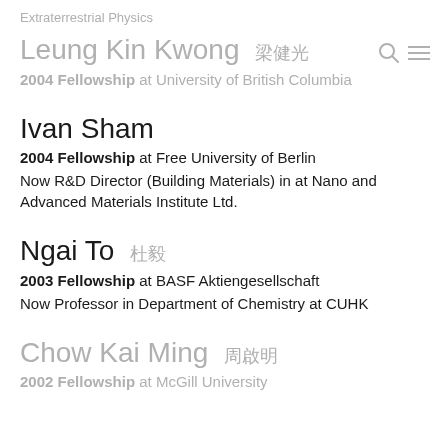Extraterrestrial Physics
Leung Kin Kwong 梁健光
2004 Fellowship at University of British Columbia
Ivan Sham
2004 Fellowship at Free University of Berlin
Now R&D Director (Building Materials) in at Nano and Advanced Materials Institute Ltd.
Ngai To 杜毅
2003 Fellowship at BASF Aktiengesellschaft
Now Professor in Department of Chemistry at CUHK
Chow Kai Ming 周啟明
2002 Fellowship at McGill University